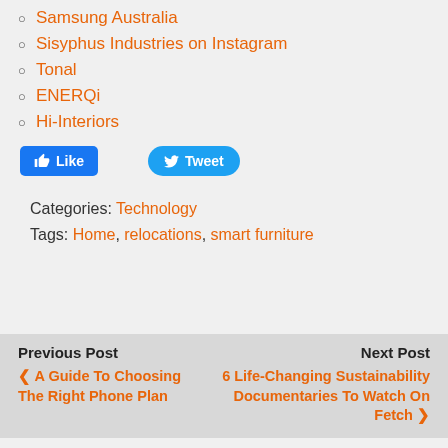Samsung Australia
Sisyphus Industries on Instagram
Tonal
ENERQi
Hi-Interiors
Categories: Technology
Tags: Home, relocations, smart furniture
Previous Post
< A Guide To Choosing The Right Phone Plan
Next Post
6 Life-Changing Sustainability Documentaries To Watch On Fetch >